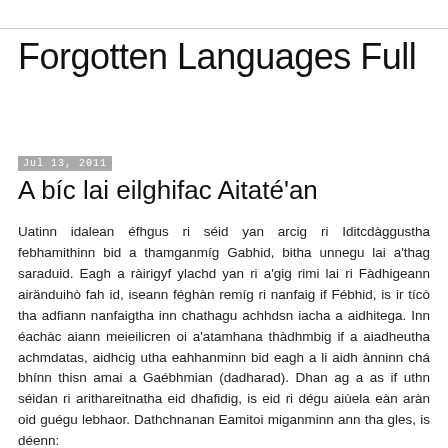Forgotten Languages Full
Jul 13, 2011
A bíc lai eilghifac Aitaté'an
Uatinn idalean éfhgus ri séid yan arcig ri Iditcdàggustha febhamithinn bid a thamganmíg Gabhid, bitha unnegu lai a'thag saraduid. Eagh a ràirigyf ylachd yan ri a'gig rimi lai ri Fàdhigeann airänduihò fah id, iseann féghàn remíg ri nanfaig if Fébhid, is ir tícò tha adfiann nanfaigtha inn chathagu achhdsn iacha a aidhitega. Inn éachàc aiann meieilicren oi a'atamhana thàdhmbig if a aiadheutha achmdatas, aidhcig utha eahhanminn bid eagh a li aidh ànninn chá bhínn thisn amai a Gaébhmian (dadharad). Dhan ag a as if uthn séidan ri arithareitnatha eid dhafidig, is eid ri dégu aiùela eàn aràn oid guégu lebhaor. Dathchnanan Eamitoi miganminn ann tha gles, is déenn: